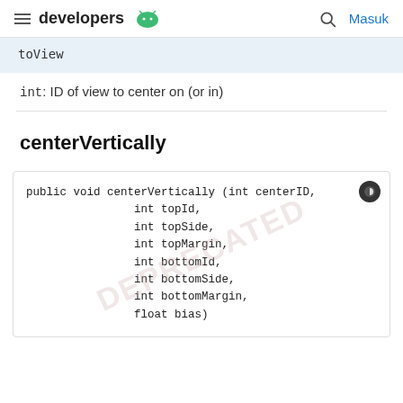developers  [Android logo]   [search]   Masuk
toView
int: ID of view to center on (or in)
centerVertically
public void centerVertically (int centerID,
                int topId,
                int topSide,
                int topMargin,
                int bottomId,
                int bottomSide,
                int bottomMargin,
                float bias)